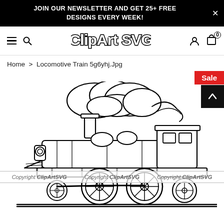JOIN OUR NEWSLETTER AND GET 25+ FREE DESIGNS EVERY WEEK!
[Figure (logo): ClipArt SVG logo in bold outlined font with navigation icons: hamburger menu, search, user, and cart with 0 items]
Home > Locomotive Train 5g6yhj.Jpg
[Figure (illustration): Black and white clipart illustration of a classic steam locomotive train viewed from the side, with steam clouds rising from the smokestack, detailed line art style. A 'Sale' badge appears in the top right corner. A watermark reading 'Copyright ClipArtSVG Copyright ClipArtSVG Copyright ClipArtSVG' overlays the image.]